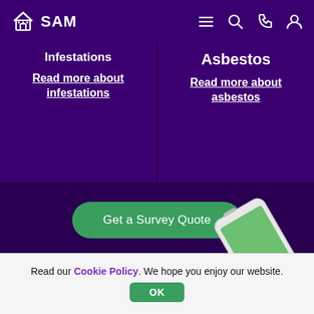SAM
Infestations
Read more about infestations
Asbestos
Read more about asbestos
Get a Survey Quote
[Figure (screenshot): Partial image of a mobile phone at the bottom of the page]
Read our Cookie Policy. We hope you enjoy our website.
OK